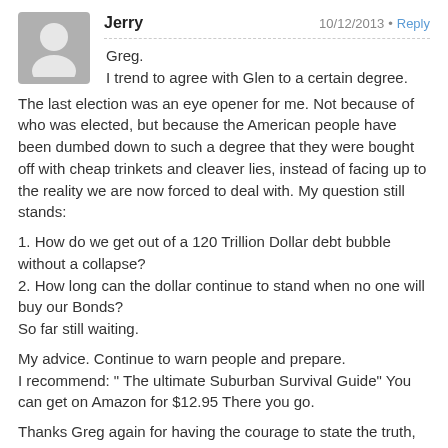Jerry   10/12/2013 · Reply
Greg.
I trend to agree with Glen to a certain degree.
The last election was an eye opener for me. Not because of who was elected, but because the American people have been dumbed down to such a degree that they were bought off with cheap trinkets and cleaver lies, instead of facing up to the reality we are now forced to deal with. My question still stands:
1. How do we get out of a 120 Trillion Dollar debt bubble without a collapse?
2. How long can the dollar continue to stand when no one will buy our Bonds?
So far still waiting.

My advice. Continue to warn people and prepare.
I recommend: " The ultimate Suburban Survival Guide" You can get on Amazon for $12.95 There you go.

Thanks Greg again for having the courage to state the truth, when so many chose to live in fantasy land. Have a good weekend.